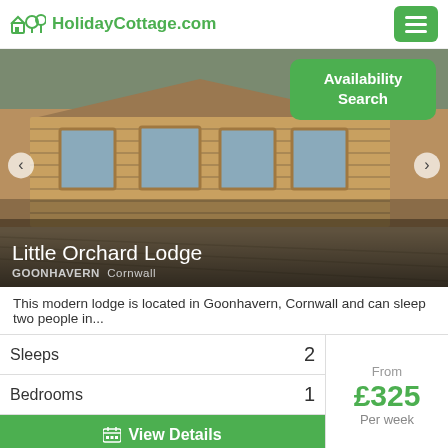HolidayCottage.com
[Figure (photo): Exterior photograph of Little Orchard Lodge, a modern wooden log cabin with large windows and a timber decking area in the foreground. Green 'Availability Search' button overlaid top right. Navigation arrows on left and right sides.]
Little Orchard Lodge
GOONHAVERN  Cornwall
This modern lodge is located in Goonhavern, Cornwall and can sleep two people in...
| Sleeps | 2 | Bedrooms | 1 | From / Price / Per week |
| --- | --- | --- | --- | --- |
| Sleeps | 2 | Bedrooms | 1 | From
£325
Per week |